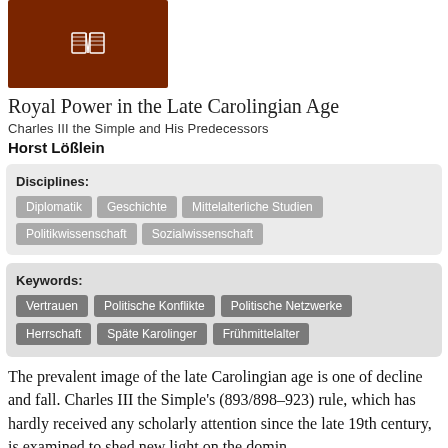[Figure (illustration): Book cover with dark red/brown background and white book/reading icon]
Royal Power in the Late Carolingian Age
Charles III the Simple and His Predecessors
Horst Lößlein
| Disciplines: | Diplomatik | Geschichte | Mittelalterliche Studien | Politikwissenschaft | Sozialwissenschaft |
| Keywords: | Vertrauen | Politische Konflikte | Politische Netzwerke | Herrschaft | Späte Karolinger | Frühmittelalter |
The prevalent image of the late Carolingian age is one of decline and fall. Charles III the Simple's (893/898–923) rule, which has hardly received any scholarly attention since the late 19th century, is examined to shed new light on the dominant